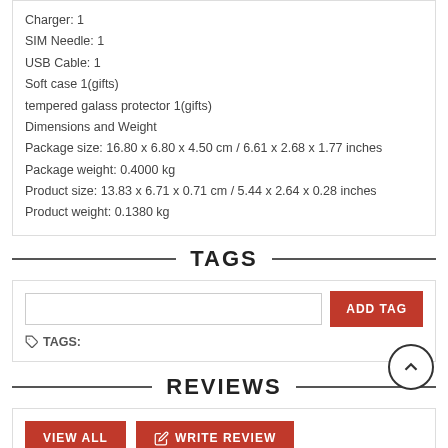Charger: 1
SIM Needle: 1
USB Cable: 1
Soft case 1(gifts)
tempered galass protector 1(gifts)
Dimensions and Weight
Package size: 16.80 x 6.80 x 4.50 cm / 6.61 x 2.68 x 1.77 inches
Package weight: 0.4000 kg
Product size: 13.83 x 6.71 x 0.71 cm / 5.44 x 2.64 x 0.28 inches
Product weight: 0.1380 kg
TAGS
TAGS:
REVIEWS
VIEW ALL   WRITE REVIEW